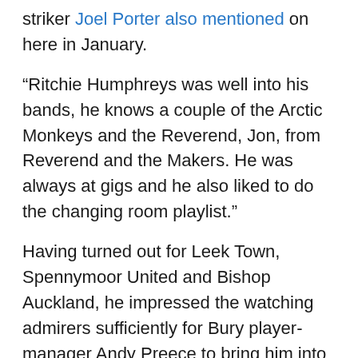striker Joel Porter also mentioned on here in January.
“Ritchie Humphreys was well into his bands, he knows a couple of the Arctic Monkeys and the Reverend, Jon, from Reverend and the Makers. He was always at gigs and he also liked to do the changing room playlist.”
Having turned out for Leek Town, Spennymoor United and Bishop Auckland, he impressed the watching admirers sufficiently for Bury player-manager Andy Preece to bring him into the Football League in 2001.
“I’m not sure who had seen me but somebody had watched me playing for Bishop Auckland. Andy Preece came to watch and I was invited for a trial.”
Michael’s debut for the Shakers as a 21-year-old in